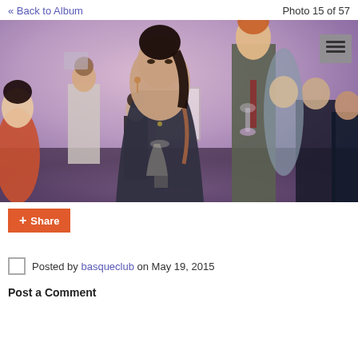« Back to Album    Photo 15 of 57
[Figure (photo): Indoor gathering or reception event with multiple people standing, a young woman in a dark dress holding a wine glass in the foreground, a tall red-haired man behind her, and numerous other guests in the background against a purple-lit white wall.]
Share
Posted by basqueclub on May 19, 2015
Post a Comment